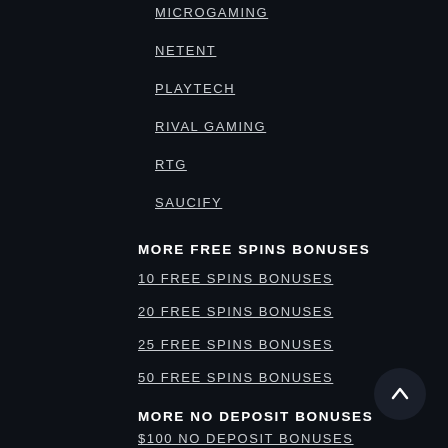MICROGAMING
NETENT
PLAYTECH
RIVAL GAMING
RTG
SAUCIFY
MORE FREE SPINS BONUSES
10 FREE SPINS BONUSES
20 FREE SPINS BONUSES
25 FREE SPINS BONUSES
50 FREE SPINS BONUSES
MORE NO DEPOSIT BONUSES
$100 NO DEPOSIT BONUSES
$200 NO DEPOSIT BONUSES